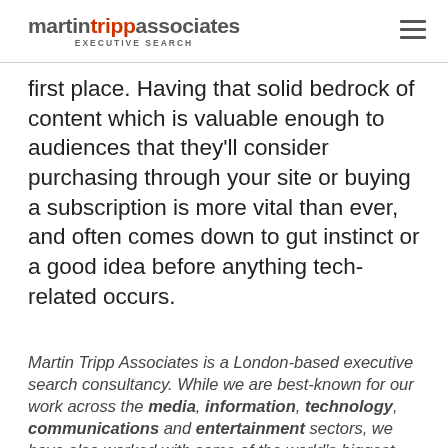martin tripp associates EXECUTIVE SEARCH
first place. Having that solid bedrock of content which is valuable enough to audiences that they'll consider purchasing through your site or buying a subscription is more vital than ever, and often comes down to gut instinct or a good idea before anything tech-related occurs.
enquiries@trippassociates.co.uk
Martin Tripp Associates is a London-based executive search consultancy. While we are best-known for our work across the media, information, technology, communications and entertainment sectors, we have also worked with some of the world's biggest brands on challenging senior